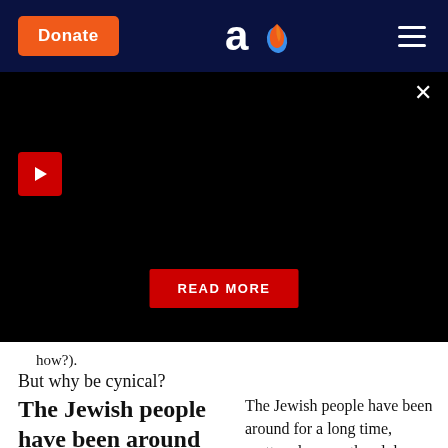Donate | Aish logo | Menu
[Figure (screenshot): Black video/promo panel with play button, close X, and READ MORE button]
how?).
But why be cynical?
The Jewish people have been around for a long time, scattered across the
The Jewish people have been around for a long time, scattered across the globe, and over the years have invented myriad